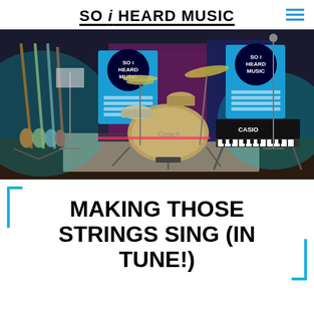SO i HEARD MUSIC
[Figure (photo): Music studio stage with a Gretsch drum kit in the center, guitars leaning against stands on the left, a Casio keyboard on the right, and two 'So I Heard Music' banner signs in the background with colorful stage lighting (teal, magenta, purple).]
MAKING THOSE STRINGS SING (IN TUNE!)